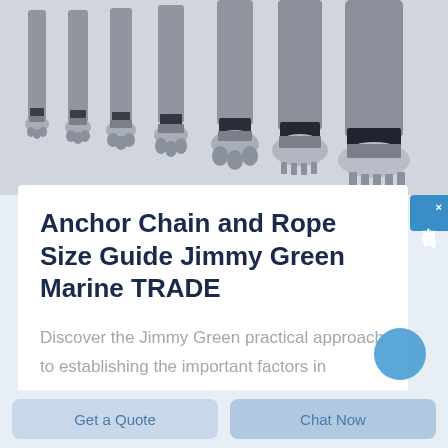[Figure (photo): Row of industrial drill bits or anchor chain fittings with metallic shafts and textured tips, arranged from smaller to larger left to right against a light grey background.]
Anchor Chain and Rope Size Guide Jimmy Green Marine TRADE
Discover the Jimmy Green practical approach to establishing the important factors in determining the size and length of your anchor chain and warp
Get a Quote
Chat Now